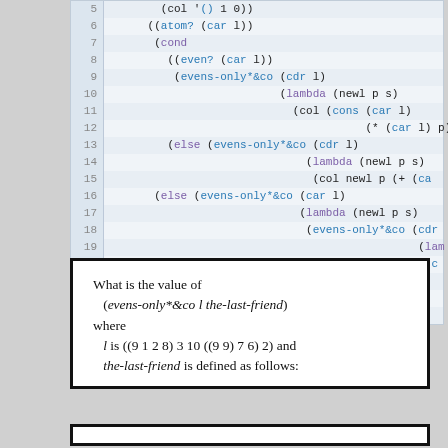[Figure (screenshot): Code editor screenshot showing lines 5-23 of a Scheme/Lisp program implementing evens-only*&co with continuations. Alternating light blue line backgrounds, line numbers on left, syntax highlighted in purple (keywords) and blue (functions).]
What is the value of (evens-only*&co l the-last-friend) where l is ((9 1 2 8) 3 10 ((9 9) 7 6) 2) and the-last-friend is defined as follows: